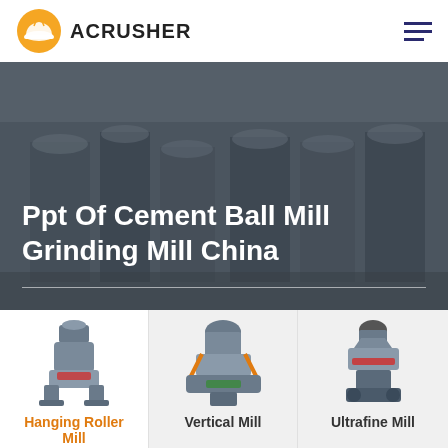[Figure (logo): Acrusher logo with orange hard-hat icon and bold uppercase ACRUSHER text]
[Figure (photo): Industrial grinding mill machinery in a factory setting, multiple large industrial mills in a row]
Ppt Of Cement Ball Mill Grinding Mill China
[Figure (photo): Hanging Roller Mill machine product photo]
Hanging Roller Mill
[Figure (photo): Vertical Mill machine product photo]
Vertical Mill
[Figure (photo): Ultrafine Mill machine product photo]
Ultrafine Mill